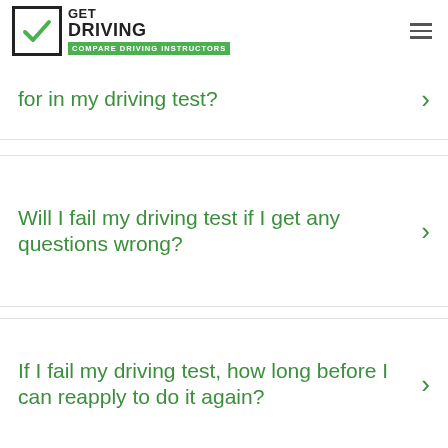[Figure (logo): Get Driving - Compare Driving Instructors logo with green checkbox icon and green banner]
How long will I actually be driving for in my driving test?
Will I fail my driving test if I get any questions wrong?
If I fail my driving test, how long before I can reapply to do it again?